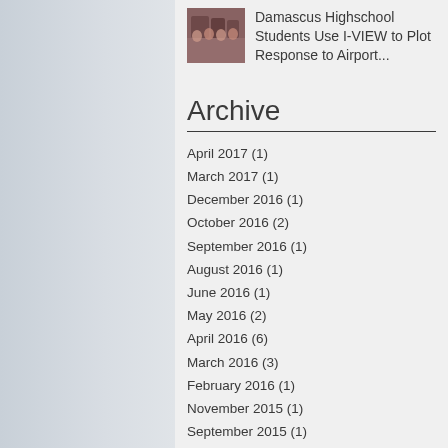[Figure (photo): Small thumbnail photo of a group of students indoors]
Damascus Highschool Students Use I-VIEW to Plot Response to Airport...
Archive
April 2017 (1)
March 2017 (1)
December 2016 (1)
October 2016 (2)
September 2016 (1)
August 2016 (1)
June 2016 (1)
May 2016 (2)
April 2016 (6)
March 2016 (3)
February 2016 (1)
November 2015 (1)
September 2015 (1)
Search By Tags